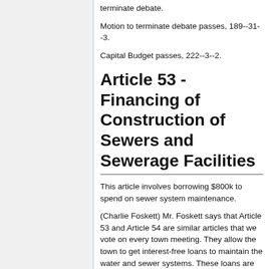terminate debate.
Motion to terminate debate passes, 189--31--3.
Capital Budget passes, 222--3--2.
Article 53 - Financing of Construction of Sewers and Sewerage Facilities
This article involves borrowing $800k to spend on sewer system maintenance.
(Charlie Foskett) Mr. Foskett says that Article 53 and Article 54 are similar articles that we vote on every town meeting. They allow the town to get interest-free loans to maintain the water and sewer systems. These loans are repaid via the Water and Sewer Enterprise Fund.